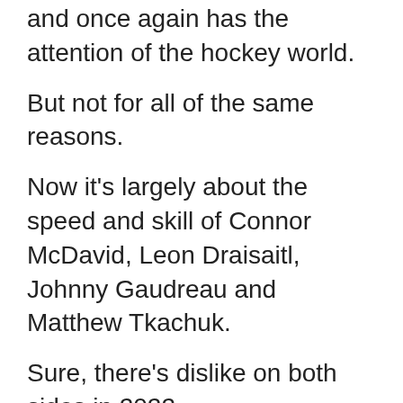and once again has the attention of the hockey world.
But not for all of the same reasons.
Now it's largely about the speed and skill of Connor McDavid, Leon Draisaitl, Johnny Gaudreau and Matthew Tkachuk.
Sure, there's dislike on both sides in 2022.
But back in 1991, it was the heated matchup of two teams — two champions — taking and receiving walloping blows that almost defy logic when examined under the sport's current lens.
That Battle of Alberta in particular was mean, nasty and downright violent.
"The most physical, aggressive, emotional